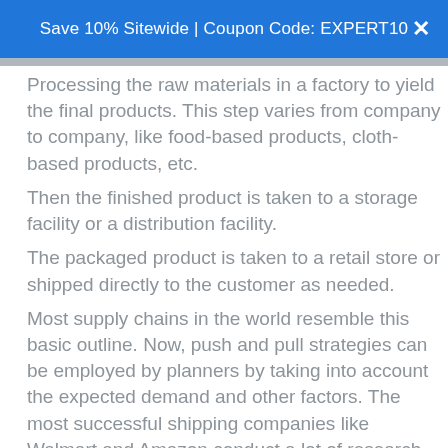Save 10% Sitewide | Coupon Code: EXPERT10
Processing the raw materials in a factory to yield the final products. This step varies from company to company, like food-based products, cloth-based products, etc.
Then the finished product is taken to a storage facility or a distribution facility.
The packaged product is taken to a retail store or shipped directly to the customer as needed.
Most supply chains in the world resemble this basic outline. Now, push and pull strategies can be employed by planners by taking into account the expected demand and other factors. The most successful shipping companies like Walmart and Amazon conduct a lot of research into the various factors that determine demand and incorporate that knowledge into their supply chain.